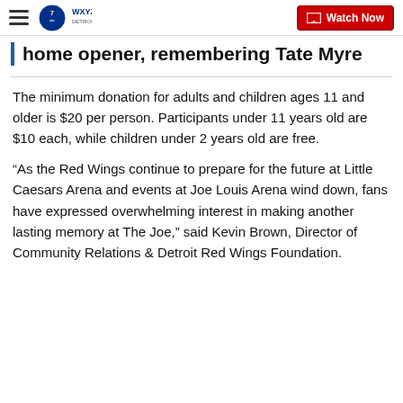WXYZ Detroit — Watch Now
home opener, remembering Tate Myre
The minimum donation for adults and children ages 11 and older is $20 per person. Participants under 11 years old are $10 each, while children under 2 years old are free.
“As the Red Wings continue to prepare for the future at Little Caesars Arena and events at Joe Louis Arena wind down, fans have expressed overwhelming interest in making another lasting memory at The Joe,” said Kevin Brown, Director of Community Relations & Detroit Red Wings Foundation.